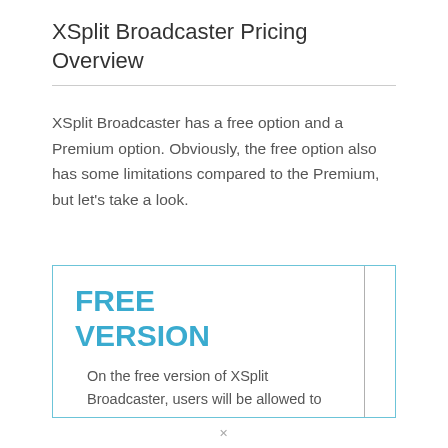XSplit Broadcaster Pricing Overview
XSplit Broadcaster has a free option and a Premium option. Obviously, the free option also has some limitations compared to the Premium, but let’s take a look.
FREE VERSION
On the free version of XSplit Broadcaster, users will be allowed to